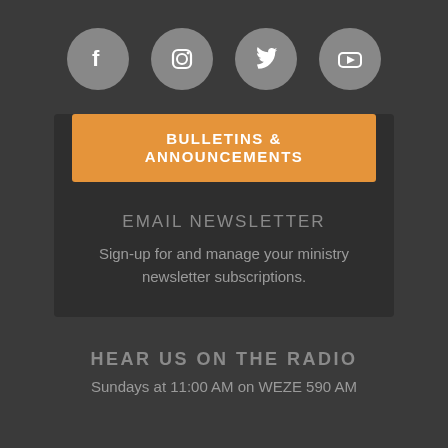[Figure (illustration): Four social media icon circles (Facebook, Instagram, Twitter, YouTube) in gray on dark background]
BULLETINS & ANNOUNCEMENTS
EMAIL NEWSLETTER
Sign-up for and manage your ministry newsletter subscriptions.
HEAR US ON THE RADIO
Sundays at 11:00 AM on WEZE 590 AM